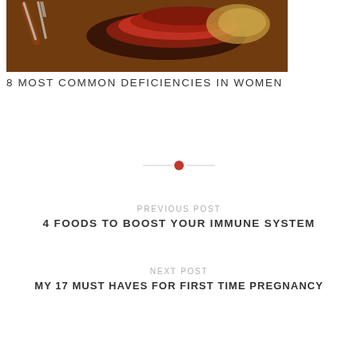[Figure (photo): Photo of sliced steak on a wooden cutting board with a knife and fork]
8 MOST COMMON DEFICIENCIES IN WOMEN
[Figure (other): Decorative divider with red dot between two horizontal lines]
PREVIOUS POST
4 FOODS TO BOOST YOUR IMMUNE SYSTEM
NEXT POST
MY 17 MUST HAVES FOR FIRST TIME PREGNANCY